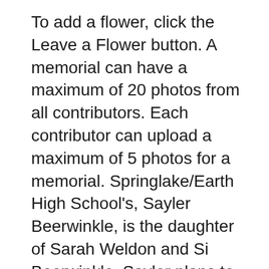To add a flower, click the Leave a Flower button. A memorial can have a maximum of 20 photos from all contributors. Each contributor can upload a maximum of 5 photos for a memorial. Springlake/Earth High School's, Sayler Beerwinkle, is the daughter of Sarah Weldon and Si Beerwinkle. Sayler plans to study Communications at Hardin-Simmons University.